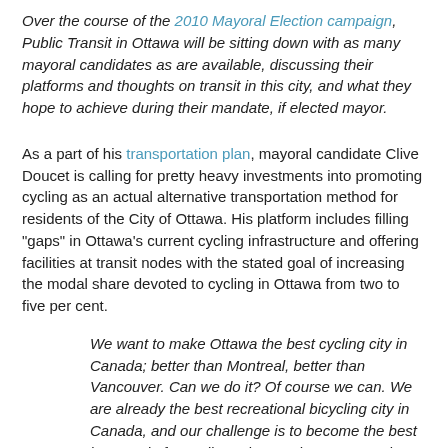Over the course of the 2010 Mayoral Election campaign, Public Transit in Ottawa will be sitting down with as many mayoral candidates as are available, discussing their platforms and thoughts on transit in this city, and what they hope to achieve during their mandate, if elected mayor.
As a part of his transportation plan, mayoral candidate Clive Doucet is calling for pretty heavy investments into promoting cycling as an actual alternative transportation method for residents of the City of Ottawa. His platform includes filling "gaps" in Ottawa's current cycling infrastructure and offering facilities at transit nodes with the stated goal of increasing the modal share devoted to cycling in Ottawa from two to five per cent.
We want to make Ottawa the best cycling city in Canada; better than Montreal, better than Vancouver. Can we do it? Of course we can. We are already the best recreational bicycling city in Canada, and our challenge is to become the best in Canada for cyclists who need to get to work, to